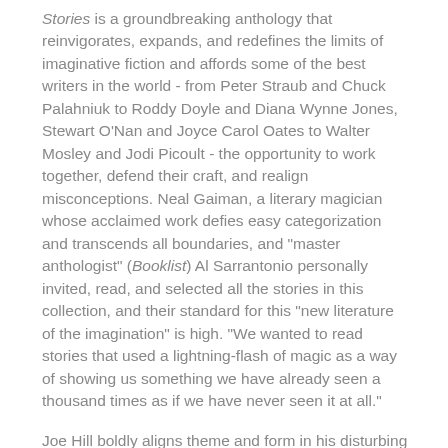Stories is a groundbreaking anthology that reinvigorates, expands, and redefines the limits of imaginative fiction and affords some of the best writers in the world - from Peter Straub and Chuck Palahniuk to Roddy Doyle and Diana Wynne Jones, Stewart O'Nan and Joyce Carol Oates to Walter Mosley and Jodi Picoult - the opportunity to work together, defend their craft, and realign misconceptions. Neal Gaiman, a literary magician whose acclaimed work defies easy categorization and transcends all boundaries, and "master anthologist" (Booklist) Al Sarrantonio personally invited, read, and selected all the stories in this collection, and their standard for this "new literature of the imagination" is high. "We wanted to read stories that used a lightning-flash of magic as a way of showing us something we have already seen a thousand times as if we have never seen it at all."
Joe Hill boldly aligns theme and form in his disturbing tale of a man's descent into evil in "Devil on the Staircase". In "Catch and Release", Lawrence Block tells of a seasoned fisherman with a talent for catching a bite of another sort.